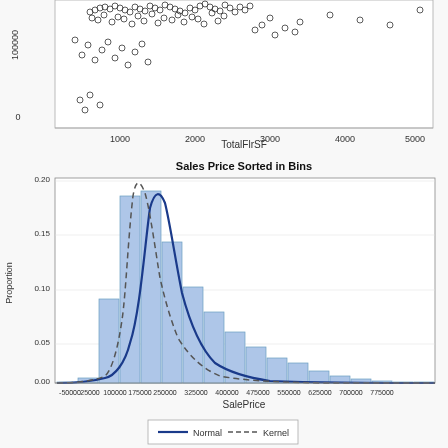[Figure (continuous-plot): Scatter plot (partially visible, top cropped) showing TotalFlrSF on x-axis (range 0-5000+) and y-axis up to 100000, with dense cluster of open circles showing positive correlation]
[Figure (continuous-plot): Histogram of Sales Price Sorted in Bins with normal (solid blue) and kernel (dashed) density curves overlaid. X-axis: SalePrice from -50000 to 775000. Y-axis: Proportion from 0.00 to 0.20. Distribution is right-skewed with peak around 150000-175000.]